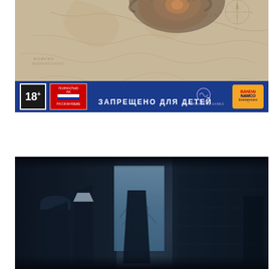[Figure (photo): Back cover of a PlayStation video game case (likely 'Until Dawn') showing a distressed map background with a burnt monstrous creature at top, an 18+ age rating badge, a Russian language badge with flag, Supermassive Games logo, Bandai Namco Entertainment logo, and the Russian text 'ЗАПРЕЩЕНО ДЛЯ ДЕТЕЙ' (Forbidden for children) on a dark blue/indigo strip at the bottom.]
[Figure (screenshot): Dark cinematic screenshot from a video game showing three silhouetted figures in a dim interior space. A bright doorway/window in the background provides strong backlight. One figure faces the window, two others face each other. One figure wears a white clerical collar. The scene has a cold blue-grey color palette suggesting a horror or period drama setting.]